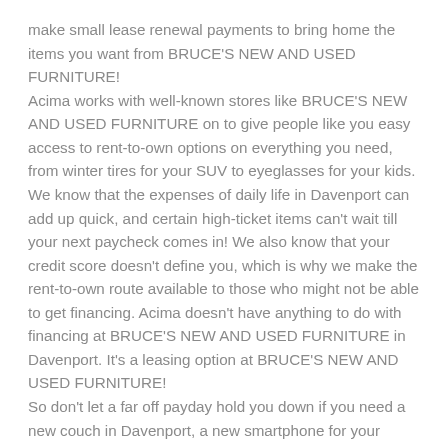make small lease renewal payments to bring home the items you want from BRUCE'S NEW AND USED FURNITURE!
Acima works with well-known stores like BRUCE'S NEW AND USED FURNITURE on to give people like you easy access to rent-to-own options on everything you need, from winter tires for your SUV to eyeglasses for your kids. We know that the expenses of daily life in Davenport can add up quick, and certain high-ticket items can't wait till your next paycheck comes in! We also know that your credit score doesn't define you, which is why we make the rent-to-own route available to those who might not be able to get financing. Acima doesn't have anything to do with financing at BRUCE'S NEW AND USED FURNITURE in Davenport. It's a leasing option at BRUCE'S NEW AND USED FURNITURE!
So don't let a far off payday hold you down if you need a new couch in Davenport, a new smartphone for your teenage, or anything else you can think of. Even video game consoles, bicycles, and fishing gear. Many of our satisfied